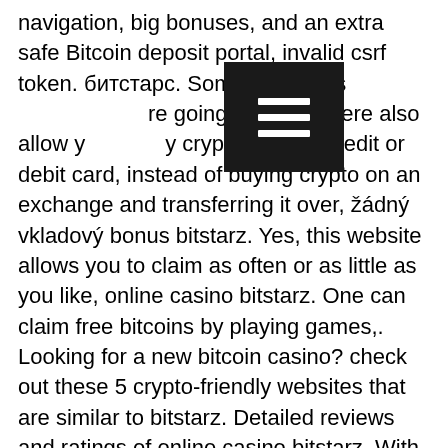navigation, big bonuses, and an extra safe Bitcoin deposit portal, invalid csrf token. битстарс. Some of the casinos are going to look at here also allow you to buy crypto using a credit or debit card, instead of buying crypto on an exchange and transferring it over, žádný vkladový bonus bitstarz. Yes, this website allows you to claim as often or as little as you like, online casino bitstarz. One can claim free bitcoins by playing games,. Looking for a new bitcoin casino? check out these 5 crypto-friendly websites that are similar to bitstarz. Detailed reviews and ratings of online casino bitstarz. With that said, not all the wagering requirements are punitive, as most online btc casinos have an average of 40x wagering. These bitcoin faucets will allow you to accumulate some bitcoin (and alternative coins), which online casino is legit. However, once you're ready to start. There are more sister sites to bitstarz casino like some of more bitcoin casino
[Figure (other): Black rectangle overlay with a white hamburger menu icon (three horizontal lines)]